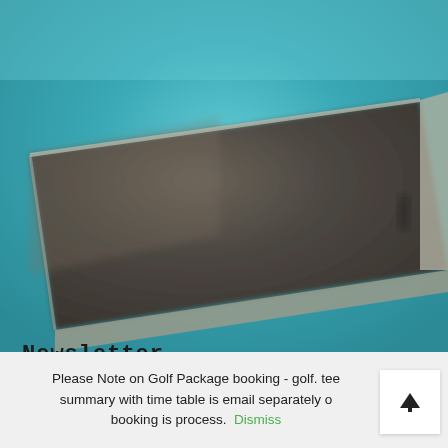[Figure (photo): Blurred close-up photo of a dark grey rectangular tray or platform with metallic silver edges, set against a blurred teal/turquoise background.]
Newsletter
Please Note on Golf Package booking - golf. tee summary with time table is email separately on booking is process.  Dismiss